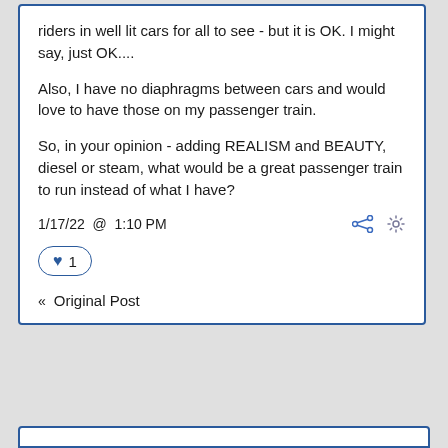riders in well lit cars for all to see - but it is OK. I might say, just OK....
Also, I have no diaphragms between cars and would love to have those on my passenger train.
So, in your opinion - adding REALISM and BEAUTY, diesel or steam, what would be a great passenger train to run instead of what I have?
1/17/22 @ 1:10 PM
♥ 1
Original Post